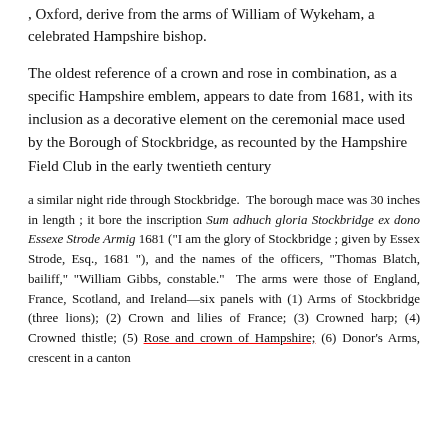, Oxford, derive from the arms of William of Wykeham, a celebrated Hampshire bishop.
The oldest reference of a crown and rose in combination, as a specific Hampshire emblem, appears to date from 1681, with its inclusion as a decorative element on the ceremonial mace used by the Borough of Stockbridge, as recounted by the Hampshire Field Club in the early twentieth century
a similar night ride through Stockbridge. The borough mace was 30 inches in length ; it bore the inscription Sum adhuch gloria Stockbridge ex dono Essexe Strode Armig 1681 ("I am the glory of Stockbridge ; given by Essex Strode, Esq., 1681 "), and the names of the officers, "Thomas Blatch, bailiff," "William Gibbs, constable." The arms were those of England, France, Scotland, and Ireland—six panels with (1) Arms of Stockbridge (three lions); (2) Crown and lilies of France; (3) Crowned harp; (4) Crowned thistle; (5) Rose and crown of Hampshire; (6) Donor's Arms, crescent in a canton